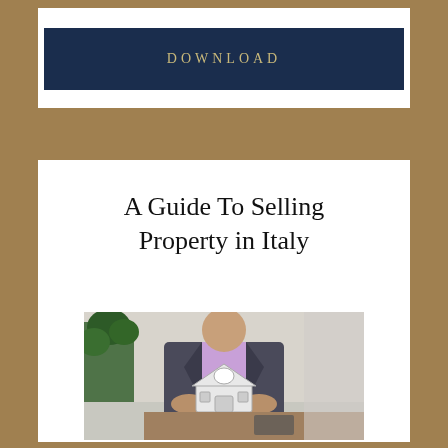DOWNLOAD
A Guide To Selling Property in Italy
[Figure (photo): Person in suit holding a miniature house model over a desk, with a plant in the background]